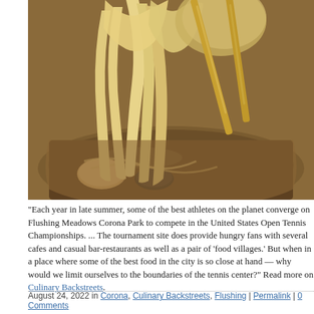[Figure (photo): Close-up photo of chopsticks holding wonton noodles over a bowl of soup broth with dumplings and vegetables]
"Each year in late summer, some of the best athletes on the planet converge on Flushing Meadows Corona Park to compete in the United States Open Tennis Championships. ... The tournament site does provide hungry fans with several cafes and casual bar-restaurants as well as a pair of 'food villages.' But when in a place where some of the best food in the city is so close at hand — why would we limit ourselves to the boundaries of the tennis center?" Read more on Culinary Backstreets.
August 24, 2022 in Corona, Culinary Backstreets, Flushing | Permalink | 0 Comments